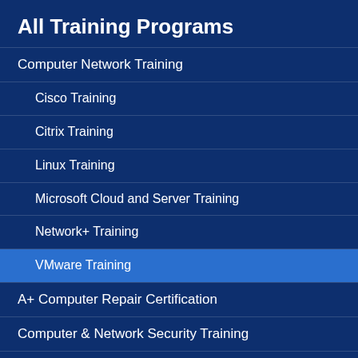All Training Programs
Computer Network Training
Cisco Training
Citrix Training
Linux Training
Microsoft Cloud and Server Training
Network+ Training
VMware Training
A+ Computer Repair Certification
Computer & Network Security Training
Database Administration and SQL Training
Development and Programming
UNIX Training